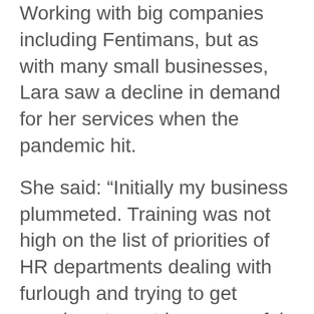Working with big companies including Fentimans, but as with many small businesses, Lara saw a decline in demand for her services when the pandemic hit.
She said: “Initially my business plummeted. Training was not high on the list of priorities of HR departments dealing with furlough and trying to get people set up at home or safely back to the office.”
Lara delivers the Microsoft Office training for local support programme Business Northumberland, her workshops cover PowerPoint, Excel, Word, PowerBI, Teams & Microsoft 365 packages. It was through this programme that Lara became aware of the Northumberland Covid Business Response Programme (NCBRP) also